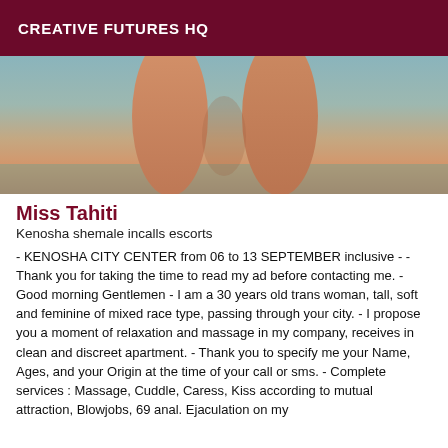CREATIVE FUTURES HQ
[Figure (photo): Cropped photo showing legs against a blue-grey background]
Miss Tahiti
Kenosha shemale incalls escorts
- KENOSHA CITY CENTER from 06 to 13 SEPTEMBER inclusive - - Thank you for taking the time to read my ad before contacting me. - Good morning Gentlemen - I am a 30 years old trans woman, tall, soft and feminine of mixed race type, passing through your city. - I propose you a moment of relaxation and massage in my company, receives in clean and discreet apartment. - Thank you to specify me your Name, Ages, and your Origin at the time of your call or sms. - Complete services : Massage, Cuddle, Caress, Kiss according to mutual attraction, Blowjobs, 69 anal. Ejaculation on my